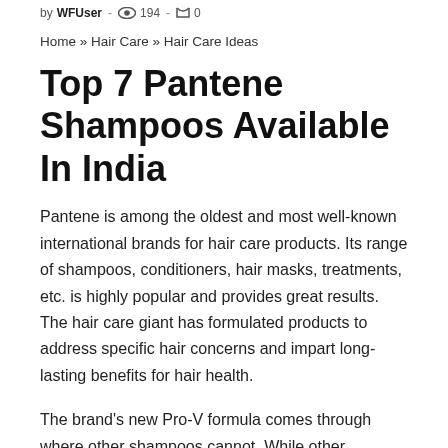by WFUser · 194 · 0
Home » Hair Care » Hair Care Ideas
Top 7 Pantene Shampoos Available In India
Pantene is among the oldest and most well-known international brands for hair care products. Its range of shampoos, conditioners, hair masks, treatments, etc. is highly popular and provides great results. The hair care giant has formulated products to address specific hair concerns and impart long-lasting benefits for hair health.
The brand's new Pro-V formula comes through where other shampoos cannot. While other products work to address the outer 5% of hair fibers, this hair care line penetrates through to the remaining 95%, providing your hair with excellent care